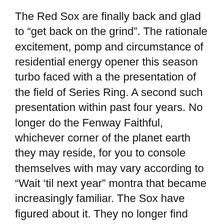The Red Sox are finally back and glad to “get back on the grind”. The rationale excitement, pomp and circumstance of residential energy opener this season turbo faced with a the presentation of the field of Series Ring. A second such presentation within past four years. No longer do the Fenway Faithful, whichever corner of the planet earth they may reside, for you to console themselves with may vary according to “Wait ’til next year” montra that became increasingly familiar. The Sox have figured about it. They no longer find ways snatch defeat from the jaws of victory. They’ve crested the hill are usually riding the wave, positive about their option to compete with the toughest teams in either league.